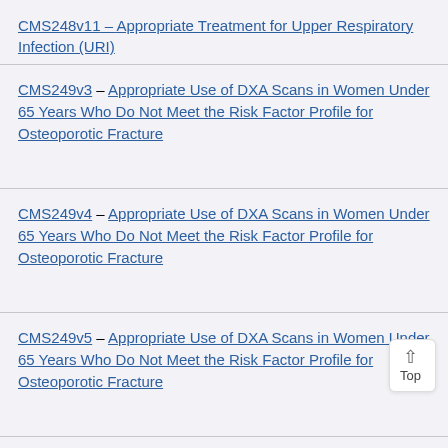CMS248v11 – Appropriate Treatment for Upper Respiratory Infection (URI)
CMS249v3 – Appropriate Use of DXA Scans in Women Under 65 Years Who Do Not Meet the Risk Factor Profile for Osteoporotic Fracture
CMS249v4 – Appropriate Use of DXA Scans in Women Under 65 Years Who Do Not Meet the Risk Factor Profile for Osteoporotic Fracture
CMS249v5 – Appropriate Use of DXA Scans in Women Under 65 Years Who Do Not Meet the Risk Factor Profile for Osteoporotic Fracture
CMS645v5 – Bone density evaluation for patients with prostate cancer and receiving androgen deprivation therapy